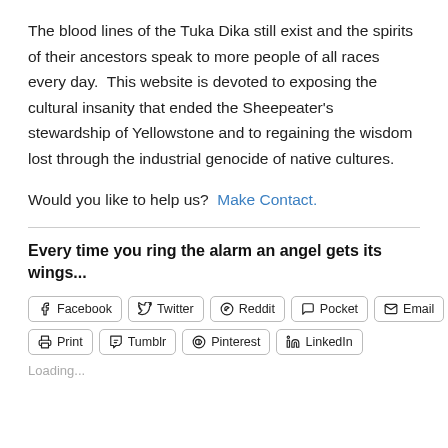The blood lines of the Tuka Dika still exist and the spirits of their ancestors speak to more people of all races every day.  This website is devoted to exposing the cultural insanity that ended the Sheepeater’s stewardship of Yellowstone and to regaining the wisdom lost through the industrial genocide of native cultures.
Would you like to help us?  Make Contact.
Every time you ring the alarm an angel gets its wings...
Facebook  Twitter  Reddit  Pocket  Email  Print  Tumblr  Pinterest  LinkedIn
Loading...